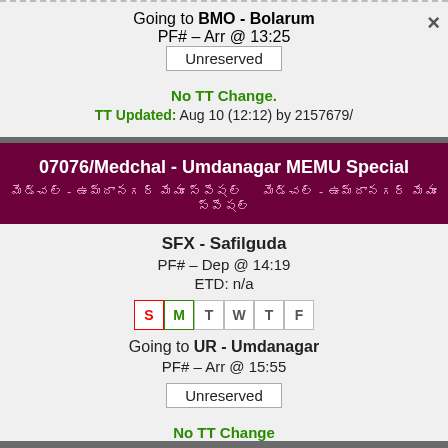Going to BMO - Bolarum
PF# – Arr @ 13:25
Unreserved
No TT Change.
TT Updated: Aug 10 (12:12) by 2157679/
07076/Medchal - Umdanagar MEMU Special
SFX - Safilguda
PF# – Dep @ 14:19
ETD: n/a
S M T W T F (days of week)
Going to UR - Umdanagar
PF# – Arr @ 15:55
Unreserved
No TT Change